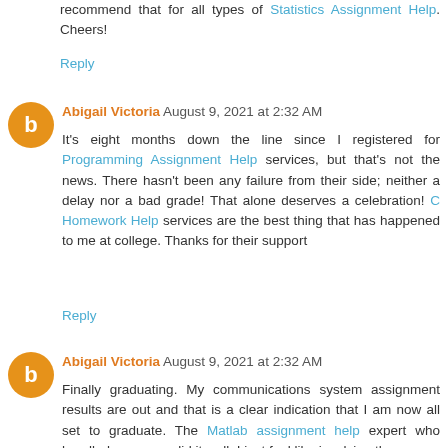recommend that for all types of Statistics Assignment Help. Cheers!
Reply
Abigail Victoria August 9, 2021 at 2:32 AM
It's eight months down the line since I registered for Programming Assignment Help services, but that's not the news. There hasn't been any failure from their side; neither a delay nor a bad grade! That alone deserves a celebration! C Homework Help services are the best thing that has happened to me at college. Thanks for their support
Reply
Abigail Victoria August 9, 2021 at 2:32 AM
Finally graduating. My communications system assignment results are out and that is a clear indication that I am now all set to graduate. The Matlab assignment help expert who handled my paper did it well. I just feel like involving them